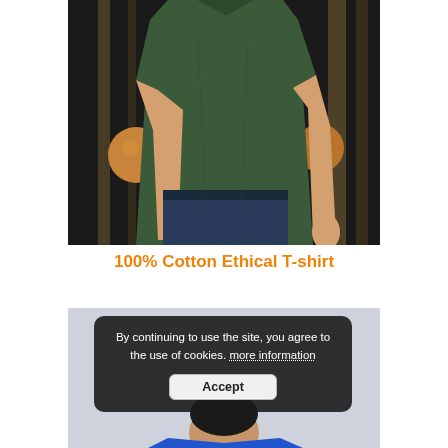[Figure (photo): Man wearing a dark green/olive short-sleeve t-shirt with navy blue shorts, standing in front of a dark background with rope-like vertical elements and wooden ball decorations. Photo shows torso and hands, head cropped out.]
100% Cotton Ethical T-shirt
[Figure (screenshot): Bottom product photo of a man wearing a blue t-shirt on a light grey background, partially obscured by a cookie consent overlay. The overlay reads: 'By continuing to use the site, you agree to the use of cookies. more information' with an Accept button.]